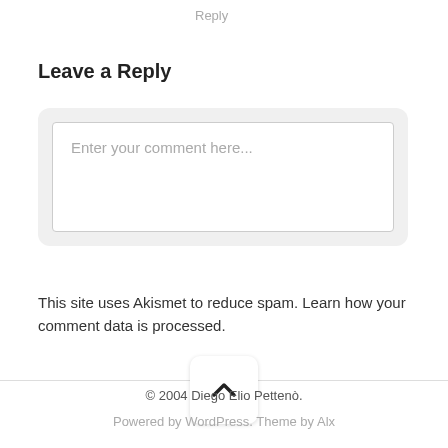Reply
Leave a Reply
[Figure (screenshot): Comment input box with placeholder text 'Enter your comment here...' inside a light gray rounded container]
This site uses Akismet to reduce spam. Learn how your comment data is processed.
[Figure (other): Scroll-to-top button with upward chevron arrow]
© 2004 Diego Elio Pettenò.
Powered by WordPress. Theme by Alx